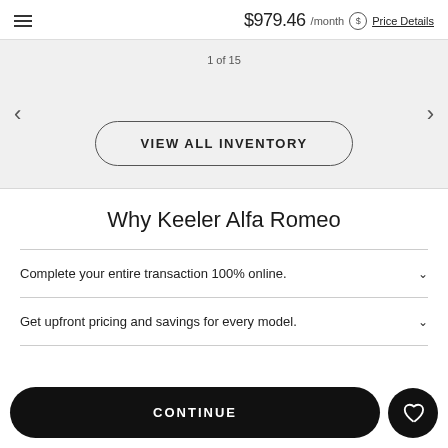$979.46 /month Ⓢ Price Details
1 of 15
VIEW ALL INVENTORY
Why Keeler Alfa Romeo
Complete your entire transaction 100% online.
Get upfront pricing and savings for every model.
CONTINUE